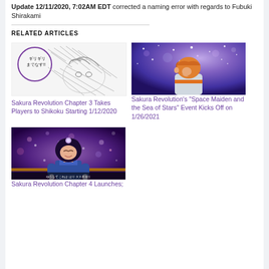Update 12/11/2020, 7:02AM EDT corrected a naming error with regards to Fubuki Shirakami
RELATED ARTICLES
[Figure (illustration): Manga sketch of an anime character with Japanese text in a purple speech bubble reading ギリギリ までなす!!]
Sakura Revolution Chapter 3 Takes Players to Shikoku Starting 1/12/2020
[Figure (photo): Screenshot or CG render of an orange-haired character from behind against a purple starry night sky]
Sakura Revolution's "Space Maiden and the Sea of Stars" Event Kicks Off on 1/26/2021
[Figure (screenshot): Game screenshot of a dark-haired anime girl with glowing hands on a purple stage with bokeh effects and subtitle text]
Sakura Revolution Chapter 4 Launches;